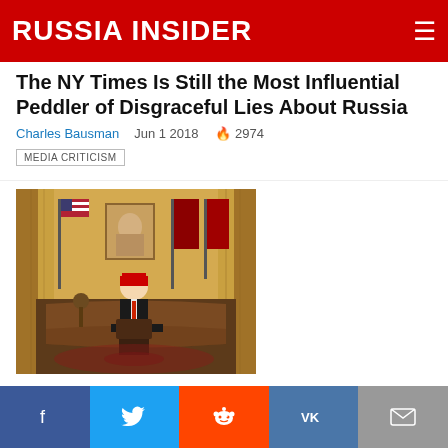RUSSIA INSIDER
The NY Times Is Still the Most Influential Peddler of Disgraceful Lies About Russia
Charles Bausman   Jun 1 2018   🔥2974
MEDIA CRITICISM
[Figure (photo): Person standing behind the Oval Office desk with US and other flags in background, golden drape curtains]
WHITE HOUSE PETITION: Trump, Please Hold Early Summit with Putin - Please Sign if You Agree
Charles Bausman   May 24 2018   🔥3164
Facebook | Twitter | Reddit | VK | Email